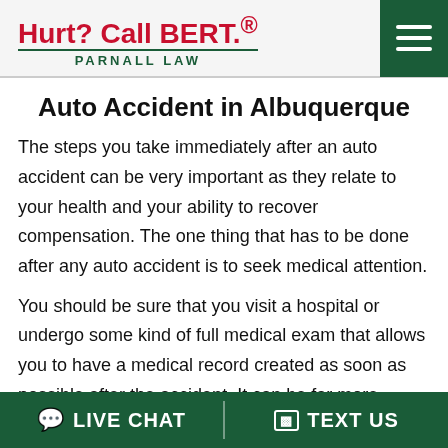Hurt? Call BERT.® PARNALL LAW
Auto Accident in Albuquerque
The steps you take immediately after an auto accident can be very important as they relate to your health and your ability to recover compensation. The one thing that has to be done after any auto accident is to seek medical attention.
You should be sure that you visit a hospital or undergo some kind of full medical exam that allows you to have a medical record created as soon as possible after the accident. It can be far more difficult to claim
LIVE CHAT   TEXT US